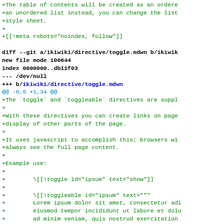+The table of contents will be created as an ordered list
+an unordered list instead, you can change the list
+style sheet.
+
+[[!meta robots="noindex, follow"]]

diff --git a/ikiwiki/directive/toggle.mdwn b/ikiwiki/directive/toggle.mdwn
new file mode 100644
index 0000000..db11f03
--- /dev/null
+++ b/ikiwiki/directive/toggle.mdwn
@@ -0,0 +1,34 @@
+The `toggle` and `toggleable` directives are supp
++
+With these directives you can create links on page
+display of other parts of the page.
++
+It uses javascript to accomplish this; browsers wi
+always see the full page content.
++
+Example use:
++
+        \[[!toggle id="ipsum" text="show"]]
++
+        \[[!toggleable id="ipsum" text="""
+        Lorem ipsum dolor sit amet, consectetur adi
+        eiusmod tempor incididunt ut labore et dolo
+        ad minim veniam, quis nostrud exercitation
+        aliquip ex ea commodo consequat.
++
+        [[!toggle id="ipsum" text="hide"]]